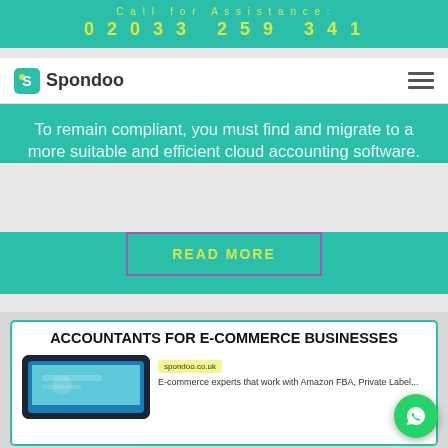Call for Assistance:
02033 259 341
[Figure (logo): Spondoo logo with icon and text, and hamburger menu on the right]
To remain compliant, you must find and migrate to a more suitable and efficient cloud accounting software.
READ MORE
ACCOUNTANTS FOR E-COMMERCE BUSINESSES
[Figure (screenshot): Spondoo website screenshot showing tablet device with spondoo.co.uk URL bar and e-commerce accountants content]
E-commerce experts that work with Amazon FBA, Private Label...